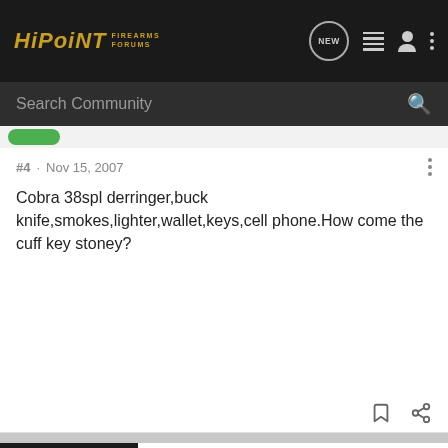HiPoint Firearms Forums — header with NEW, list, profile, and more icons
Search Community
#4 · Nov 15, 2007
Cobra 38spl derringer,buck knife,smokes,lighter,wallet,keys,cell phone.How come the cuff key stoney?
[Figure (screenshot): Springfield Armory advertisement: 3 Extra Mags and Range Bag Free with any new striker fired handgun purchase]